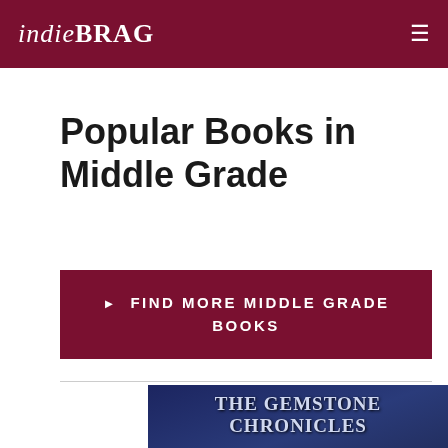indieBRAG
Popular Books in Middle Grade
▶ FIND MORE MIDDLE GRADE BOOKS
[Figure (illustration): Book cover for The Gemstone Chronicles Book One: The Carnelian, dark blue/purple background with title text and a gold BRAG medallion]